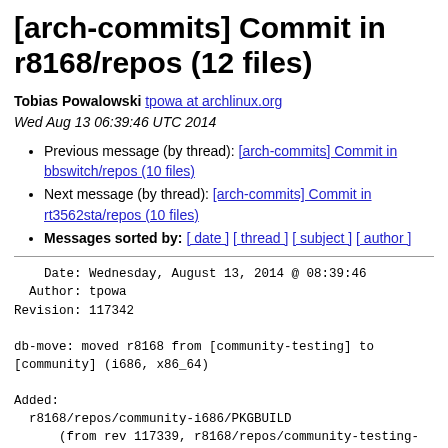[arch-commits] Commit in r8168/repos (12 files)
Tobias Powalowski tpowa at archlinux.org
Wed Aug 13 06:39:46 UTC 2014
Previous message (by thread): [arch-commits] Commit in bbswitch/repos (10 files)
Next message (by thread): [arch-commits] Commit in rt3562sta/repos (10 files)
Messages sorted by: [ date ] [ thread ] [ subject ] [ author ]
Date: Wednesday, August 13, 2014 @ 08:39:46
  Author: tpowa
Revision: 117342

db-move: moved r8168 from [community-testing] to
[community] (i686, x86_64)

Added:
  r8168/repos/community-i686/PKGBUILD
      (from rev 117339, r8168/repos/community-testing-i686/PKGBUILD)
  r8168/repos/community-